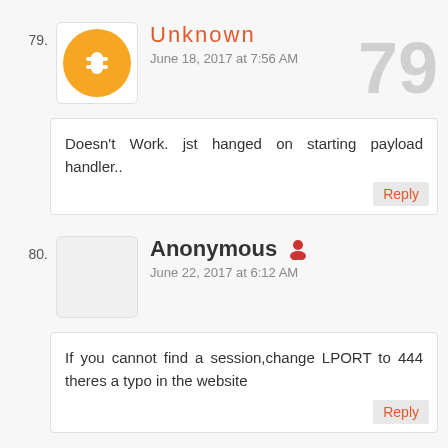79. Unknown — June 18, 2017 at 7:56 AM
Doesn't Work. jst hanged on starting payload handler..
80. Anonymous — June 22, 2017 at 6:12 AM
If you cannot find a session,change LPORT to 444 theres a typo in the website